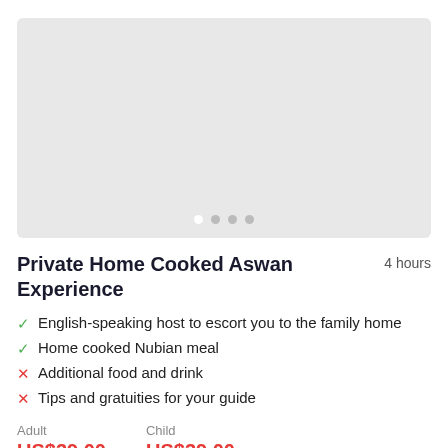[Figure (photo): Image carousel placeholder with light gray background and dot navigation indicators]
Private Home Cooked Aswan Experience
4 hours
English-speaking host to escort you to the family home
Home cooked Nubian meal
Additional food and drink
Tips and gratuities for your guide
Adult  US$39.00
Child  US$39.00